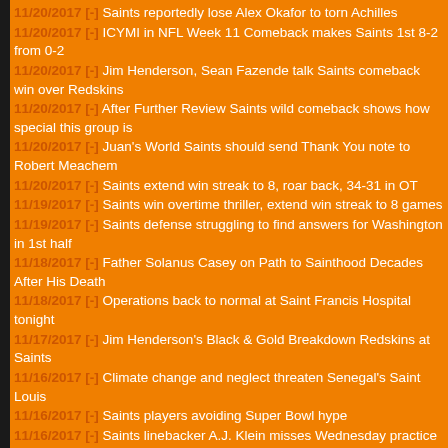11/20/2017 [-] Saints reportedly lose Alex Okafor to torn Achilles
11/20/2017 [-] ICYMI in NFL Week 11 Comeback makes Saints 1st 8-2 from 0-2
11/20/2017 [-] Jim Henderson, Sean Fazende talk Saints comeback win over Redskins
11/20/2017 [-] After Further Review Saints wild comeback shows how special this group is
11/20/2017 [-] Juan's World Saints should send Thank You note to Robert Meachem
11/20/2017 [-] Saints extend win streak to 8, roar back, 34-31 in OT
11/19/2017 [-] Saints win overtime thriller, extend win streak to 8 games
11/19/2017 [-] Saints defense struggling to find answers for Washington in 1st half
11/18/2017 [-] Father Solanus Casey on Path to Sainthood Decades After His Death
11/18/2017 [-] Operations back to normal at Saint Francis Hospital tonight
11/17/2017 [-] Jim Henderson's Black & Gold Breakdown Redskins at Saints
11/16/2017 [-] Climate change and neglect threaten Senegal's Saint Louis
11/16/2017 [-] Saints players avoiding Super Bowl hype
11/16/2017 [-] Saints linebacker A.J. Klein misses Wednesday practice
11/15/2017 [-] Last Saint Louis Zoo polar bear dies
11/15/2017 [-] Saints sign running back Jonathan Williams
11/14/2017 [-] Saints fans rushing to buy jerseys
11/14/2017 [-] Jim Henderson's Commentary Saints trounce Bills
11/14/2017 [-] Saints arrive in New Orleans after win over Bills